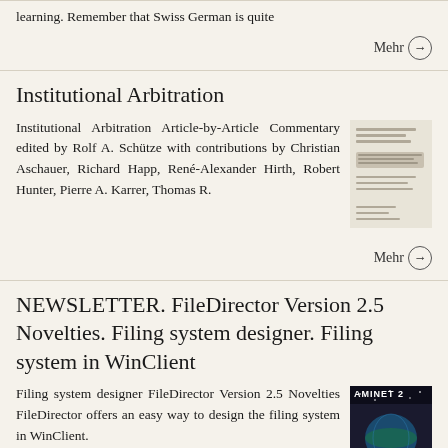learning. Remember that Swiss German is quite
Mehr →
Institutional Arbitration
Institutional Arbitration Article-by-Article Commentary edited by Rolf A. Schütze with contributions by Christian Aschauer, Richard Happ, René-Alexander Hirth, Robert Hunter, Pierre A. Karrer, Thomas R.
[Figure (photo): Book cover or document image for Institutional Arbitration]
Mehr →
NEWSLETTER. FileDirector Version 2.5 Novelties. Filing system designer. Filing system in WinClient
Filing system designer FileDirector Version 2.5 Novelties FileDirector offers an easy way to design the filing system in WinClient.
[Figure (photo): AMINET 2 book/CD cover image]